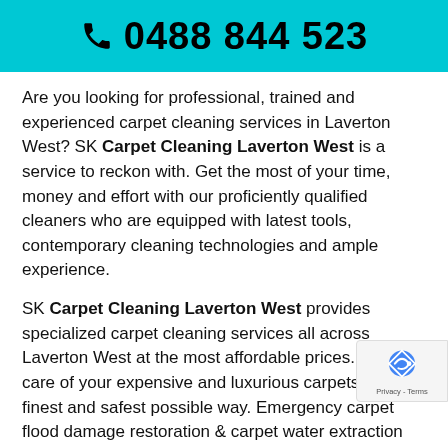☎0488 844 523
Are you looking for professional, trained and experienced carpet cleaning services in Laverton West? SK Carpet Cleaning Laverton West is a service to reckon with. Get the most of your time, money and effort with our proficiently qualified cleaners who are equipped with latest tools, contemporary cleaning technologies and ample experience.
SK Carpet Cleaning Laverton West provides specialized carpet cleaning services all across Laverton West at the most affordable prices. We take care of your expensive and luxurious carpets in the finest and safest possible way. Emergency carpet flood damage restoration & carpet water extraction services are just a part of our service palette. We are a local company delivering quality cleaning and carpet restoration services for more than two